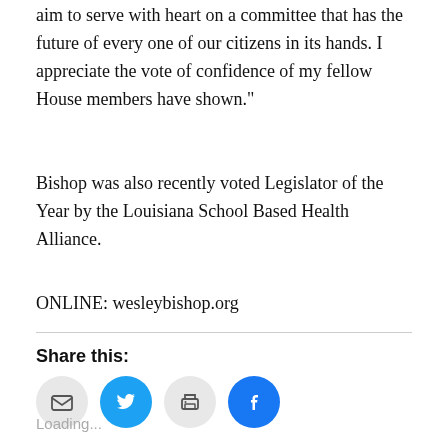aim to serve with heart on a committee that has the future of every one of our citizens in its hands. I appreciate the vote of confidence of my fellow House members have shown."
Bishop was also recently voted Legislator of the Year by the Louisiana School Based Health Alliance.
ONLINE: wesleybishop.org
Share this:
[Figure (infographic): Four circular social share buttons: email (light gray), Twitter (light blue), print (light gray), Facebook (blue)]
Loading...